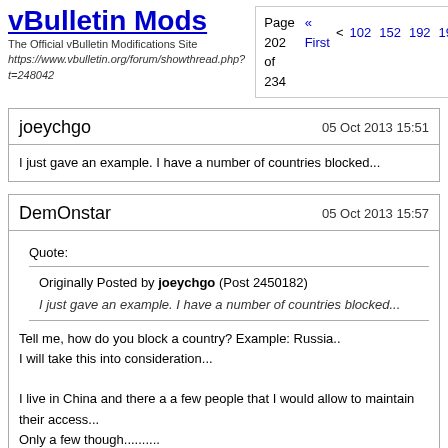vBulletin Mods
The Official vBulletin Modifications Site
https://www.vbulletin.org/forum/showthread.php?t=248042
Page 202 of 234  « First  <  102  152  192  199  2...
joeychgo
05 Oct 2013 15:51
I just gave an example. I have a number of countries blocked...
DemOnstar
05 Oct 2013 15:57
Quote:
Originally Posted by joeychgo (Post 2450182)
I just gave an example. I have a number of countries blocked...
Tell me, how do you block a country? Example: Russia..
I will take this into consideration...

I live in China and there a a few people that I would allow to maintain their access...
Only a few though..........